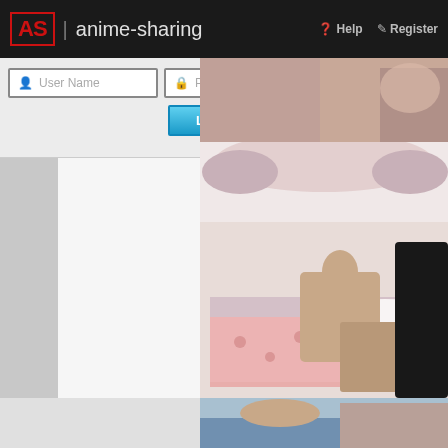AS | anime-sharing   Help  Register
User Name
Password
Remember Me?
Log in
[Figure (screenshot): Anime-sharing website login page with header bar showing AS logo and site name, login form with username/password fields and Log in button, and 3D rendered adult game screenshots on the right side showing figures in bedroom and pool scenes]